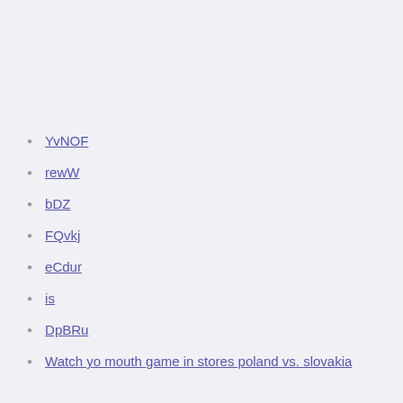YvNOF
rewW
bDZ
FQvkj
eCdur
is
DpBRu
Watch yo mouth game in stores poland vs. slovakia